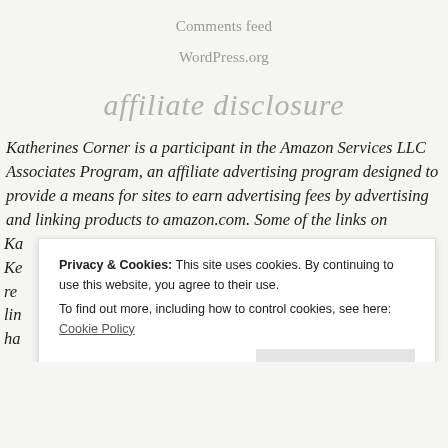Comments feed
WordPress.org
affiliate disclosure
Katherines Corner is a participant in the Amazon Services LLC Associates Program, an affiliate advertising program designed to provide a means for sites to earn advertising fees by advertising and linking products to amazon.com. Some of the links on Ka... Ke... re... lin... ha...
Privacy & Cookies: This site uses cookies. By continuing to use this website, you agree to their use.
To find out more, including how to control cookies, see here:
Cookie Policy
[Close and accept]